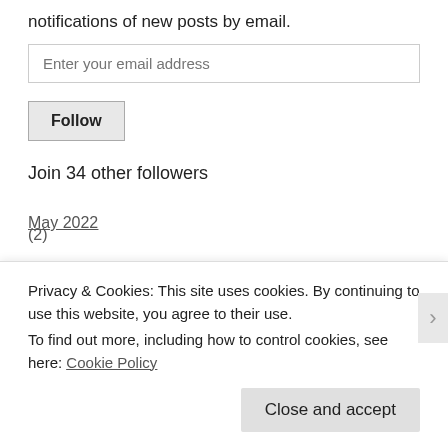notifications of new posts by email.
Enter your email address
Follow
Join 34 other followers
May 2022 (2)
February 2022 (1)
January 2022 (2)
Privacy & Cookies: This site uses cookies. By continuing to use this website, you agree to their use.
To find out more, including how to control cookies, see here: Cookie Policy
Close and accept